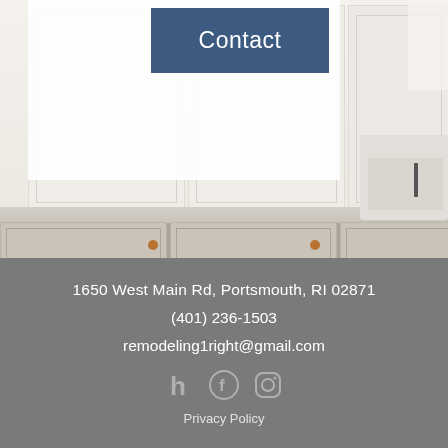[Figure (photo): Kitchen photo showing white upper cabinets, beige/grey lower cabinets with copper pulls, marble countertop, and a toaster on the right side. A white overlay navigation area with a Contact button is visible in the upper left.]
Contact
1650 West Main Rd, Portsmouth, RI 02871
(401) 236-1503
remodeling1right@gmail.com
[Figure (illustration): Three social media icons: Houzz (h), Facebook, and Instagram]
Privacy Policy